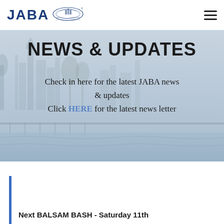JABA [logo with emblem]
NEWS & UPDATES
Check in here for the latest JABA news & updates
Click HERE for the latest news letter
Next BALSAM BASH - Saturday 11th